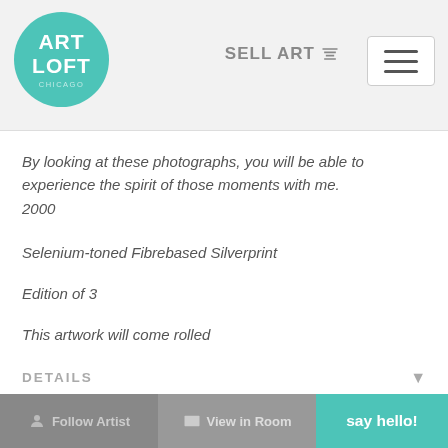[Figure (logo): Art Loft circular teal logo with white text]
SELL ART
By looking at these photographs, you will be able to experience the spirit of those moments with me. 2000
Selenium-toned Fibrebased Silverprint
Edition of 3
This artwork will come rolled
DETAILS
Medium: Photography
HOW DOES RENTING WORK
Follow Artist   View in Room   say hello!